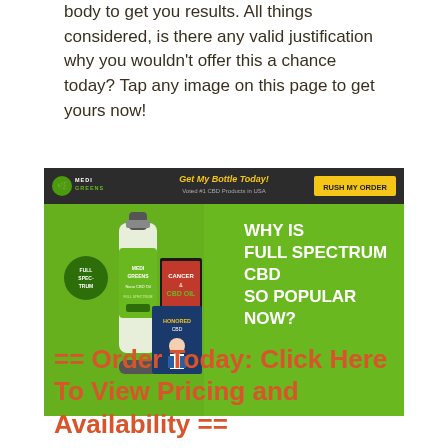body to get you results. All things considered, is there any valid justification why you wouldn't offer this a chance today? Tap any image on this page to get yours now!
[Figure (illustration): MediGreens CBD oil product advertisement banner showing a dark amber dropper bottle with green label, books about CBD, a doctor, and bold text reading 'WHY IS FULL SPECTRUM CBD SO POPULAR NOW?' with product description text on a green background. Header shows MediGreens logo, 'Get My Bottle Today! Voted #1 CBD Products in USA', and a yellow 'RUSH MY ORDER' button.]
== Order Today: Click Here To View Pricing and Availability ==